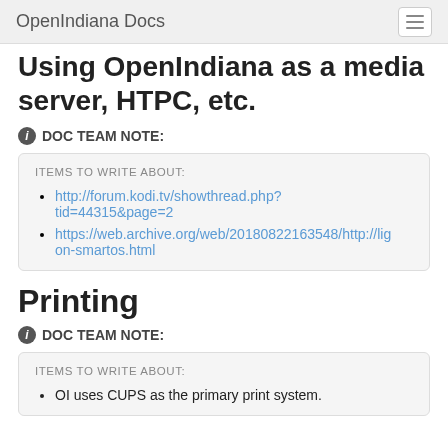OpenIndiana Docs
Using OpenIndiana as a media server, HTPC, etc.
DOC TEAM NOTE:
ITEMS TO WRITE ABOUT:
http://forum.kodi.tv/showthread.php?tid=44315&page=2
https://web.archive.org/web/20180822163548/http://lig... on-smartos.html
Printing
DOC TEAM NOTE:
ITEMS TO WRITE ABOUT:
OI uses CUPS as the primary print system.